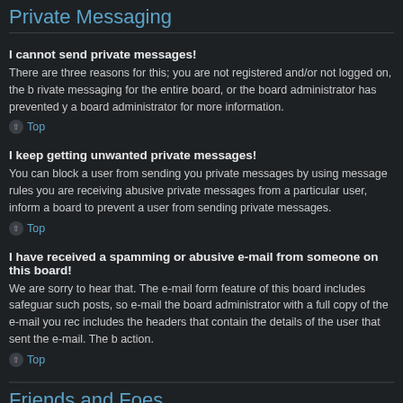Private Messaging
I cannot send private messages!
There are three reasons for this; you are not registered and/or not logged on, the board administrator has disabled private messaging for the entire board, or the board administrator has prevented you from sending messages. Contact a board administrator for more information.
Top
I keep getting unwanted private messages!
You can block a user from sending you private messages by using message rules within your User Control Panel. If you are receiving abusive private messages from a particular user, inform a board administrator; they have the power to prevent a user from sending private messages.
Top
I have received a spamming or abusive e-mail from someone on this board!
We are sorry to hear that. The e-mail form feature of this board includes safeguards to try and track users who send such posts, so e-mail the board administrator with a full copy of the e-mail you received. It is very important that this includes the headers that contain the details of the user that sent the e-mail. The board administrator can then take action.
Top
Friends and Foes
What are my Friends and Foes lists?
You can use these lists to organise other members of the board. Members added to your friends list will be listed within your User Control Panel for quick access to see their online status and to send them private messages.